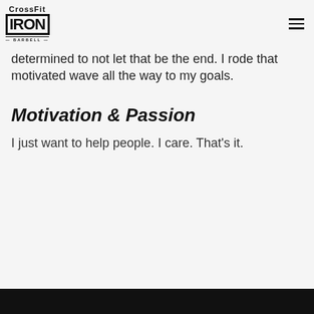CrossFit Iron Barbell logo and navigation menu
determined to not let that be the end. I rode that motivated wave all the way to my goals.
Motivation & Passion
I just want to help people. I care. That's it.